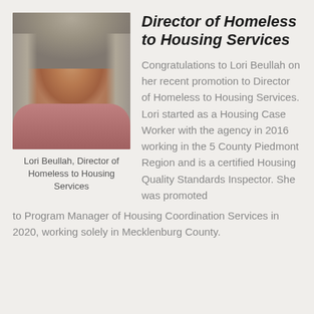[Figure (photo): Headshot photo of Lori Beullah, a woman with gray hair wearing a pink top, smiling at the camera.]
Lori Beullah, Director of Homeless to Housing Services
Director of Homeless to Housing Services
Congratulations to Lori Beullah on her recent promotion to Director of Homeless to Housing Services. Lori started as a Housing Case Worker with the agency in 2016 working in the 5 County Piedmont Region and is a certified Housing Quality Standards Inspector. She was promoted to Program Manager of Housing Coordination Services in 2020, working solely in Mecklenburg County.